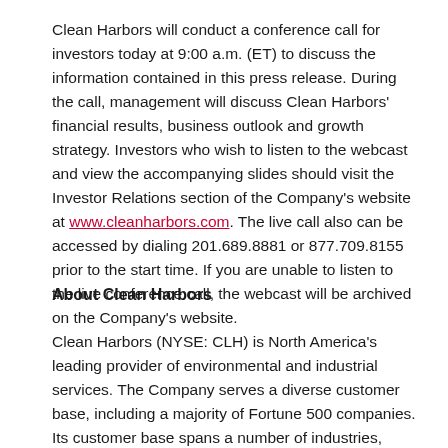Clean Harbors will conduct a conference call for investors today at 9:00 a.m. (ET) to discuss the information contained in this press release. During the call, management will discuss Clean Harbors' financial results, business outlook and growth strategy. Investors who wish to listen to the webcast and view the accompanying slides should visit the Investor Relations section of the Company's website at www.cleanharbors.com. The live call also can be accessed by dialing 201.689.8881 or 877.709.8155 prior to the start time. If you are unable to listen to the live conference call, the webcast will be archived on the Company's website.
About Clean Harbors
Clean Harbors (NYSE: CLH) is North America's leading provider of environmental and industrial services. The Company serves a diverse customer base, including a majority of Fortune 500 companies. Its customer base spans a number of industries, including chemical, energy and manufacturing, as well as numerous government agencies. These customers rely on Clean